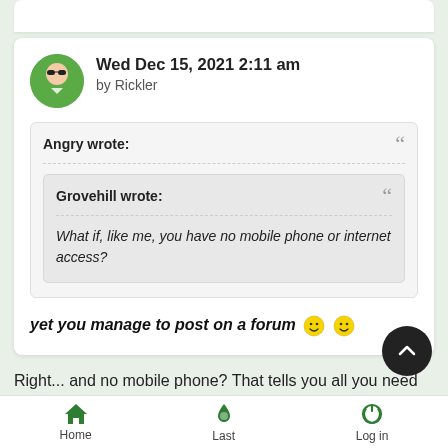Wed Dec 15, 2021 2:11 am
by Rickler
Angry wrote:
Grovehill wrote:
What if, like me, you have no mobile phone or internet access?
yet you manage to post on a forum 😊😊
Right...  and no mobile phone?  That tells you all you need to
Home   Last   Log in